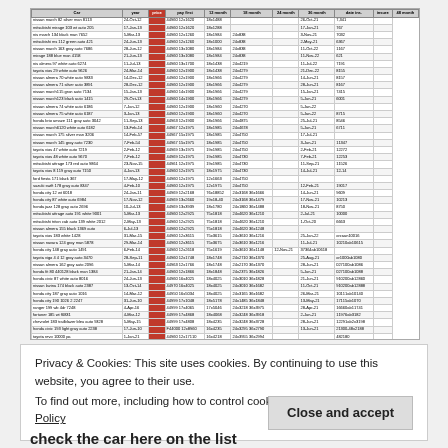[Figure (table-as-image): A spreadsheet-style table listing car details including car name, year, price, and various financial/insurance columns. The price column is highlighted in red. Cars include nissan march, mitsubishi, toyota vios, honda city, etc.]
Privacy & Cookies: This site uses cookies. By continuing to use this website, you agree to their use.
To find out more, including how to control cookies, see here: Cookie Policy
Close and accept
check the car here on the list